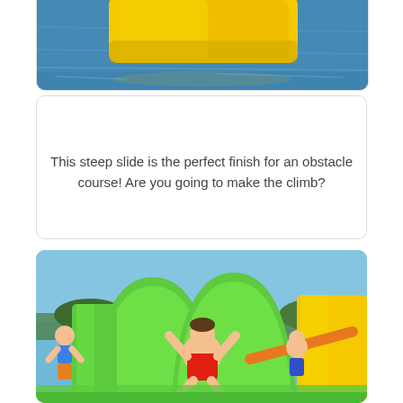[Figure (photo): Yellow inflatable obstacle floating on blue water, partially cropped at top of page]
Slope
This steep slide is the perfect finish for an obstacle course! Are you going to make the climb?
[Figure (photo): Children playing on a large green inflatable water obstacle course. A boy in red shorts is sliding down a green slope while other children look on. Blue sky in background.]